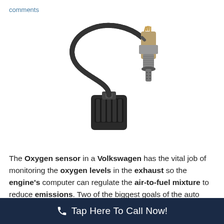comments
[Figure (photo): Photograph of an oxygen sensor component showing a black connector plug at the bottom, a braided black wire cable curving upward, and a metallic threaded sensor body with a slotted tip on the right side, on a white background.]
The Oxygen sensor in a Volkswagen has the vital job of monitoring the oxygen levels in the exhaust so the engine's computer can regulate the air-to-fuel mixture to reduce emissions. Two of the biggest goals of the auto industry
Tap Here To Call Now!